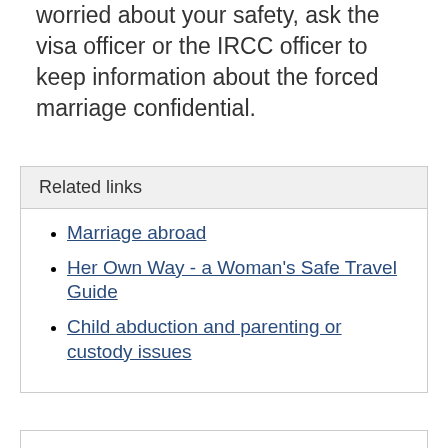worried about your safety, ask the visa officer or the IRCC officer to keep information about the forced marriage confidential.
Related links
Marriage abroad
Her Own Way - a Woman's Safe Travel Guide
Child abduction and parenting or custody issues